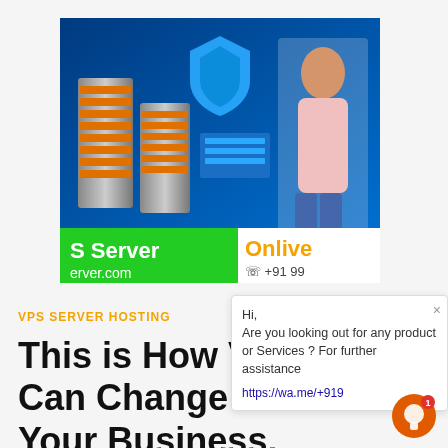[Figure (photo): VPS hosting promotional banner showing server hardware, blue shield logo, woman in pink top, green and orange banner strips reading 'S Server', 'Onlive', 'erver.com', '+91 99']
VPS SERVER HOSTING
This is How VPS Hosting Can Change the Future of Your Business.
Hi, Are you looking out for any product or Services ? For further assistance https://wa.me/+919